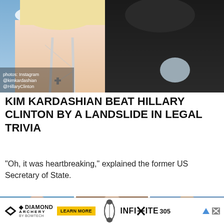[Figure (photo): Two people side by side: a blonde woman wearing a cross necklace on the left, a person in a dark jacket on the right. Photo credit overlay: 'photos: Instagram @kimkardashian @HillaryClinton']
KIM KARDASHIAN BEAT HILLARY CLINTON BY A LANDSLIDE IN LEGAL TRIVIA
“Oh, it was heartbreaking,” explained the former US Secretary of State.
[Figure (photo): Three side-by-side photos of women. Left: woman in white ruffled outfit at a scenic coastal overlook. Center: woman with brown hair taking a selfie. Right: woman in athletic wear (purple/maroon) outdoors with hills in background.]
[Figure (other): Diamond Archery by Bowtech advertisement banner. Shows Diamond Archery logo, a compound bow graphic, 'LEARN MORE' yellow button, and 'INFINITE 305' text.]